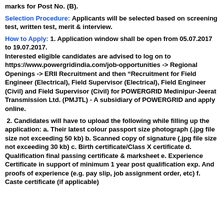marks for Post No. (B).
Selection Procedure: Applicants will be selected based on screening test, written test, merit & interview.
How to Apply: 1. Application window shall be open from 05.07.2017 to 19.07.2017. Interested eligible candidates are advised to log on to https://www.powergridindia.com/job-opportunities -> Regional Openings -> ERII Recruitment and then “Recruitment for Field Engineer (Electrical), Field Supervisor (Electrical), Field Engineer (Civil) and Field Supervisor (Civil) for POWERGRID Medinipur-Jeerat Transmission Ltd. (PMJTL) - A subsidiary of POWERGRID and apply online.
2. Candidates will have to upload the following while filling up the application: a. Their latest colour passport size photograph (.jpg file size not exceeding 50 kb) b. Scanned copy of signature (.jpg file size not exceeding 30 kb) c. Birth certificate/Class X certificate d. Qualification final passing certificate & marksheet e. Experience Certificate in support of minimum 1 year post qualification exp. And proofs of experience (e.g. pay slip, job assignment order, etc) f. Caste certificate (if applicable)